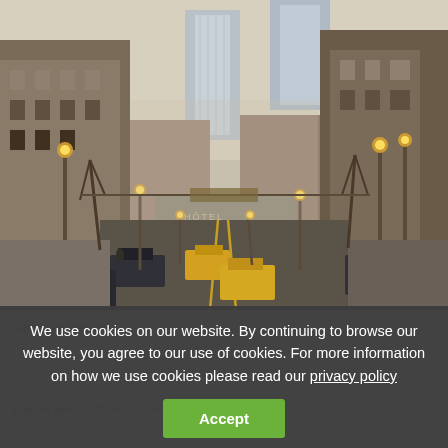[Figure (photo): Urban street scene looking down a city street lined with lamp posts, yellow taxis, cars, and tall buildings including modern skyscrapers in the background. The scene has a rainy, overcast atmosphere reminiscent of a North American downtown.]
Vitruvian Design
We use cookies on our website. By continuing to browse our website, you agree to our use of cookies. For more information on how we use cookies please read our privacy policy
After the rain... CGI Vancouver... 3dmax and PS